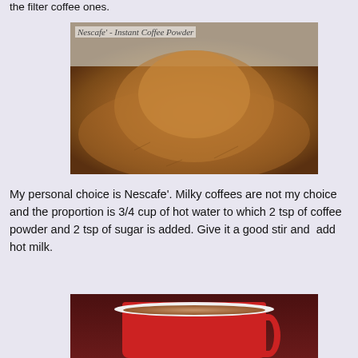the filter coffee ones.
[Figure (photo): Photo of Nescafe instant coffee powder — a pile of granulated brown coffee granules on foil packaging, with the label 'Nescafe' - Instant Coffee Powder' in italic script at the top left.]
My personal choice is Nescafe'. Milky coffees are not my choice and the proportion is 3/4 cup of hot water to which 2 tsp of coffee powder and 2 tsp of sugar is added. Give it a good stir and  add hot milk.
[Figure (photo): Photo of a red mug filled with milky coffee, seen from slightly above, on a dark red surface.]